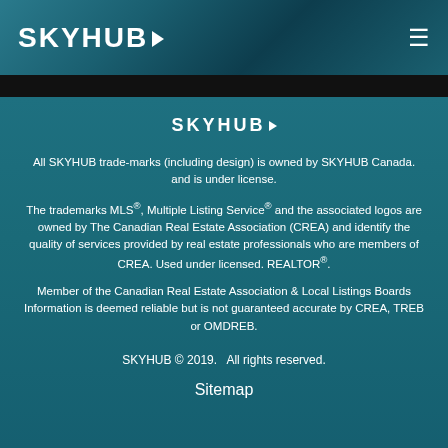SKYHUB
SKYHUB
All SKYHUB trade-marks (including design) is owned by SKYHUB Canada. and is under license.
The trademarks MLS®, Multiple Listing Service® and the associated logos are owned by The Canadian Real Estate Association (CREA) and identify the quality of services provided by real estate professionals who are members of CREA. Used under licensed. REALTOR®.
Member of the Canadian Real Estate Association & Local Listings Boards Information is deemed reliable but is not guaranteed accurate by CREA, TREB or OMDREB.
SKYHUB © 2019.   All rights reserved.
Sitemap